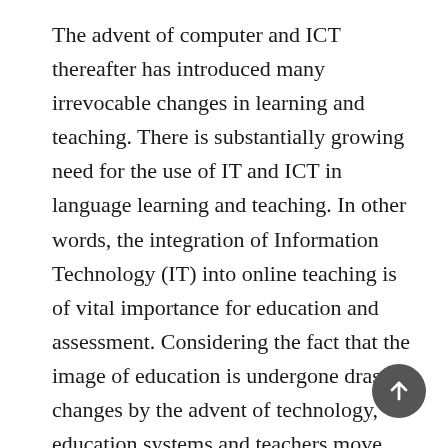The advent of computer and ICT thereafter has introduced many irrevocable changes in learning and teaching. There is substantially growing need for the use of IT and ICT in language learning and teaching. In other words, the integration of Information Technology (IT) into online teaching is of vital importance for education and assessment. Considering the fact that the image of education is undergone drastic changes by the advent of technology, education systems and teachers move beyond the walls of traditional classes and methods in order to join with other educational centers to revitalize education. Given the advent of distance learning, online courses and virtual universities, e-assessment has taken a prominent place in effective teaching and meeting the learners' educational needs. The purpose of this paper is twofold: first, scrutinizing e-learning, it discusses